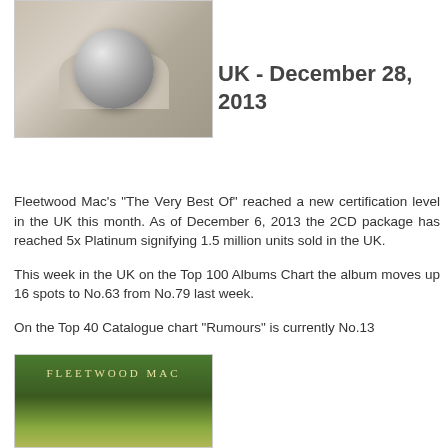[Figure (photo): Fleetwood Mac band members reflected in a crystal ball held by hands, black and white photo with warm background]
UK - December 28, 2013
Fleetwood Mac's "The Very Best Of" reached a new certification level in the UK this month. As of December 6, 2013 the 2CD package has reached 5x Platinum signifying 1.5 million units sold in the UK.
This week in the UK on the Top 100 Albums Chart the album moves up 16 spots to No.63 from No.79 last week.
On the Top 40 Catalogue chart "Rumours" is currently No.13
[Figure (photo): Fleetwood Mac album cover with green and yellow background showing the FLEETWOOD MAC text]